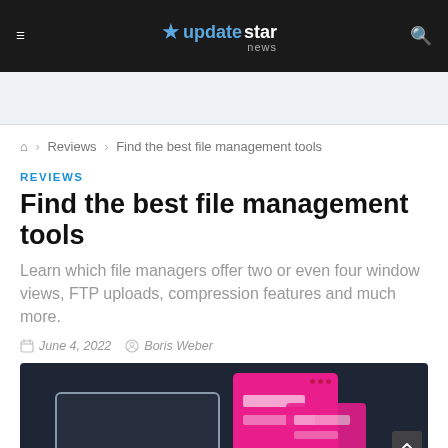UpdateStar News — navigation bar with hamburger menu, logo, and search icon
Reviews › Find the best file management tools
REVIEWS
Find the best file management tools
Learn which file managers offer two or even four window views, FTP uploads, compression features and much more.
June 4, 2022   Boris Weber
[Figure (illustration): Dark navy background hero image with pink application window mockups and a laptop outline illustration]